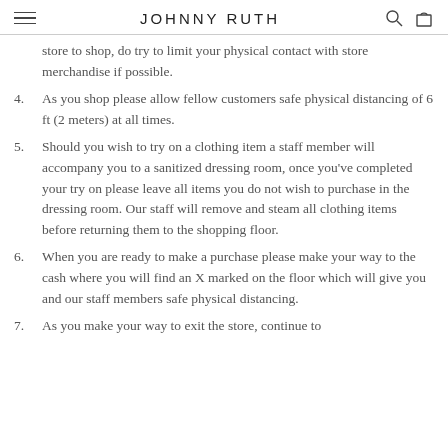JOHNNY RUTH
store to shop, do try to limit your physical contact with store merchandise if possible.
4. As you shop please allow fellow customers safe physical distancing of 6 ft (2 meters) at all times.
5. Should you wish to try on a clothing item a staff member will accompany you to a sanitized dressing room, once you've completed your try on please leave all items you do not wish to purchase in the dressing room. Our staff will remove and steam all clothing items before returning them to the shopping floor.
6. When you are ready to make a purchase please make your way to the cash where you will find an X marked on the floor which will give you and our staff members safe physical distancing.
7. As you make your way to exit the store, continue to